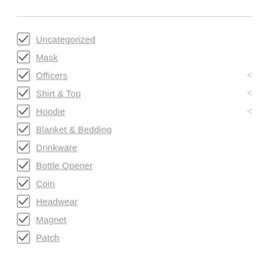Uncategorized
Mask
Officers
Shirt & Top
Hoodie
Blanket & Bedding
Drinkware
Bottle Opener
Coin
Headwear
Magnet
Patch